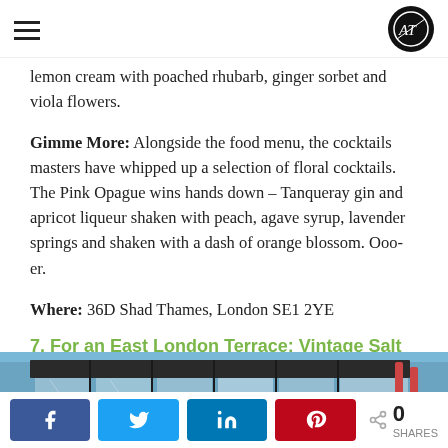AT logo and navigation
lemon cream with poached rhubarb, ginger sorbet and viola flowers.
Gimme More: Alongside the food menu, the cocktails masters have whipped up a selection of floral cocktails. The Pink Opague wins hands down – Tanqueray gin and apricot liqueur shaken with peach, agave syrup, lavender springs and shaken with a dash of orange blossom. Ooo-er.
Where: 36D Shad Thames, London SE1 2YE
7. For an East London Terrace: Vintage Salt
[Figure (photo): Exterior photo of Vintage Salt restaurant, showing architectural details of a building with glass and industrial elements under a blue sky.]
Social share buttons: Facebook, Twitter, LinkedIn, Pinterest. 0 SHARES